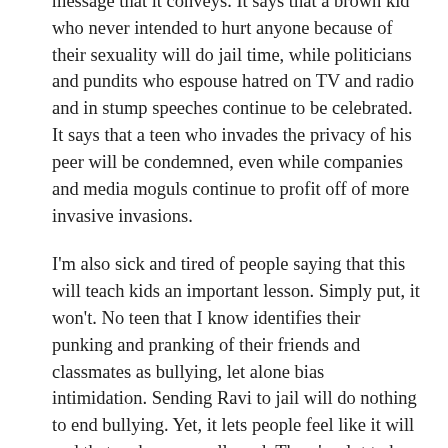message that it conveys. It says that a brown kid who never intended to hurt anyone because of their sexuality will do jail time, while politicians and pundits who espouse hatred on TV and radio and in stump speeches continue to be celebrated. It says that a teen who invades the privacy of his peer will be condemned, even while companies and media moguls continue to profit off of more invasive invasions.
I'm also sick and tired of people saying that this will teach kids an important lesson. Simply put, it won't. No teen that I know identifies their punking and pranking of their friends and classmates as bullying, let alone bias intimidation. Sending Ravi to jail will do nothing to end bullying. Yet, it lets people feel like it will and that makes me really sad. There's a lot to be done in this realm and this does nothing to help those who are suffering every day.
The jury did its job. The law was followed. I have little doubt that Ravi did the things that he was convicted of doing. But I